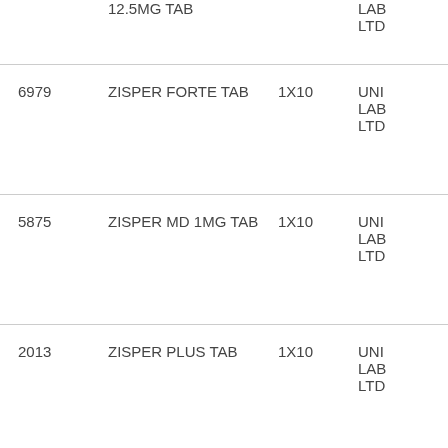| Code | Product | Pack | Manufacturer |
| --- | --- | --- | --- |
|  | 12.5MG TAB |  | LAB LTD |
| 6979 | ZISPER FORTE TAB | 1X10 | UNI LAB LTD |
| 5875 | ZISPER MD 1MG TAB | 1X10 | UNI LAB LTD |
| 2013 | ZISPER PLUS TAB | 1X10 | UNI LAB LTD |